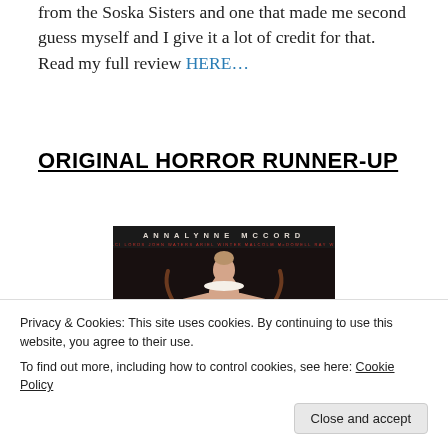from the Soska Sisters and one that made me second guess myself and I give it a lot of credit for that. Read my full review HERE…
ORIGINAL HORROR RUNNER-UP
[Figure (photo): Movie poster for Excision featuring AnnaLynne McCord. Black background with actress in center. Film festival badges on lower left (Sundance) and lower right (Fantasia). Cast credits listed in small red text below title.]
Privacy & Cookies: This site uses cookies. By continuing to use this website, you agree to their use.
To find out more, including how to control cookies, see here: Cookie Policy
Close and accept